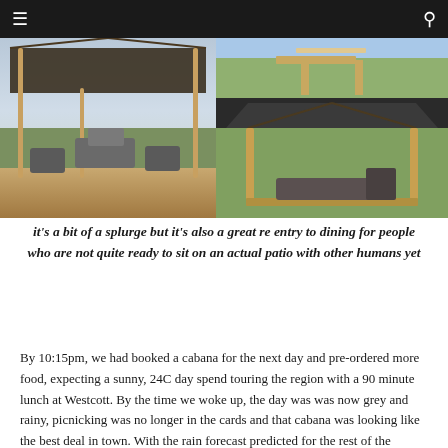≡  🔍
[Figure (photo): Three outdoor gazebo/cabana photos: left shows a large wooden pavilion with wicker patio furniture on a wood deck overlooking open fields; top right shows a distant view of a wooden bench/furniture in a green field; bottom right shows a black-roofed wooden gazebo with wicker seating on a wood platform surrounded by green grass and crops.]
it's a bit of a splurge but it's also a great re entry to dining for people who are not quite ready to sit on an actual patio with other humans yet
By 10:15pm, we had booked a cabana for the next day and pre-ordered more food, expecting a sunny, 24C day spend touring the region with a 90 minute lunch at Westcott. By the time we woke up, the day was was now grey and rainy, picnicking was no longer in the cards and that cabana was looking like the best deal in town. With the rain forecast predicted for the rest of the summer,